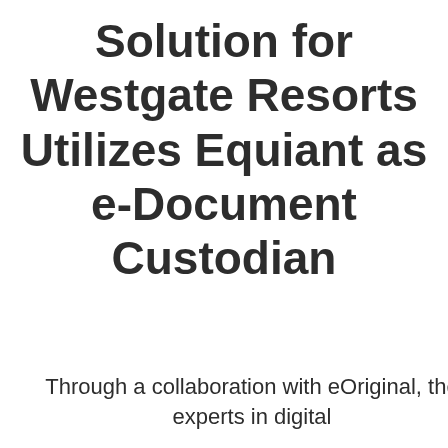Solution for Westgate Resorts Utilizes Equiant as e-Document Custodian
Through a collaboration with eOriginal, the experts in digital